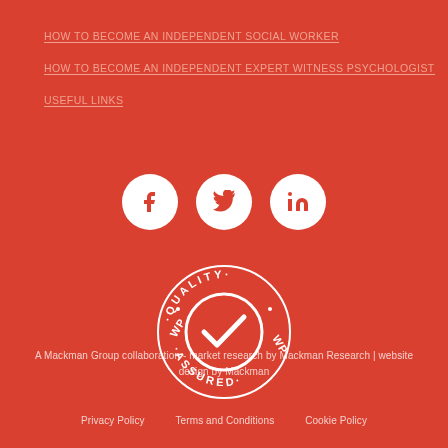HOW TO BECOME AN INDEPENDENT SOCIAL WORKER
HOW TO BECOME AN INDEPENDENT EXPERT WITNESS PSYCHOLOGIST
USEFUL LINKS
[Figure (illustration): Three white circular social media icons on red background: Facebook (f), Twitter (bird), LinkedIn (in)]
[Figure (logo): WP Quality Assured badge: circular badge with checkmark, text reading WP QUALITY WP ASSURED around the circle]
A Mackman Group collaboration - market research by Mackman Research | website design by Mackman
Privacy Policy   Terms and Conditions   Cookie Policy